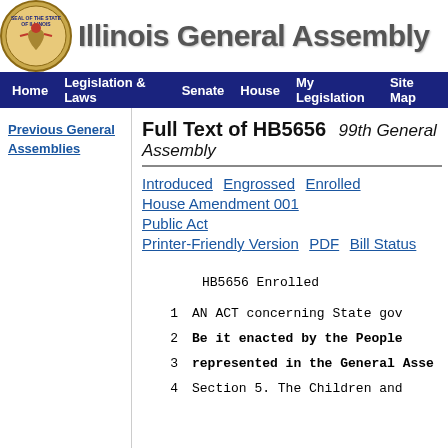[Figure (logo): Seal of the State of Illinois on the Illinois General Assembly website header]
Illinois General Assembly
Home | Legislation & Laws | Senate | House | My Legislation | Site Map
Previous General Assemblies
Full Text of HB5656  99th General Assembly
Introduced  Engrossed  Enrolled
House Amendment 001
Public Act
Printer-Friendly Version  PDF  Bill Status
HB5656 Enrolled
1    AN ACT concerning State gov
2    Be it enacted by the People
3    represented in the General Asse
4    Section 5. The Children and